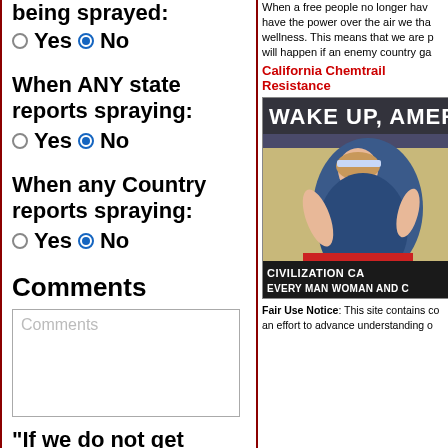being sprayed:
Yes  No
When ANY state reports spraying:
Yes  No
When any Country reports spraying:
Yes  No
Comments
Comments (placeholder)
"If we do not get
When a free people no longer ha... have the power over the air we tha... wellness. This means that we are p... will happen if an enemy country ga...
California Chemtrail Resistance
[Figure (illustration): WAKE UP AMERICA poster showing a reclining woman in patriotic dress with text CIVILIZATION CA... EVERY MAN WOMAN AND C...]
Fair Use Notice: This site contains co... an effort to advance understanding o...